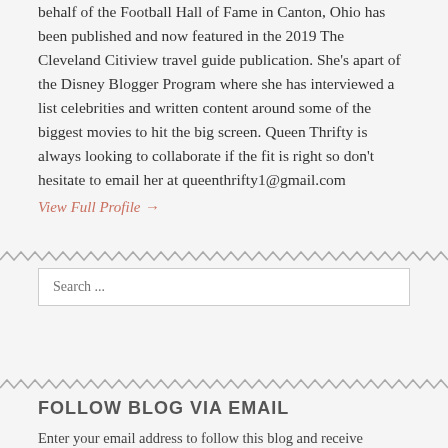behalf of the Football Hall of Fame in Canton, Ohio has been published and now featured in the 2019 The Cleveland Citiview travel guide publication. She's apart of the Disney Blogger Program where she has interviewed a list celebrities and written content around some of the biggest movies to hit the big screen. Queen Thrifty is always looking to collaborate if the fit is right so don't hesitate to email her at queenthrifty1@gmail.com
View Full Profile →
[Figure (other): Zigzag/wavy decorative divider line]
Search ...
[Figure (other): Zigzag/wavy decorative divider line]
FOLLOW BLOG VIA EMAIL
Enter your email address to follow this blog and receive